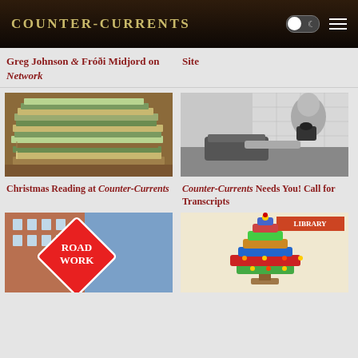Counter-Currents
Greg Johnson & Fróði Midjord on Network
Site
[Figure (photo): Stack of books with spines fanned out, green covers visible, warm brown background]
[Figure (photo): Black and white vintage photo of a woman sitting at a typewriter with a telephone in the background]
Christmas Reading at Counter-Currents
Counter-Currents Needs You! Call for Transcripts
[Figure (photo): Red diamond-shaped road work sign in front of a brick building]
[Figure (photo): Christmas tree made of colorful books in a library setting with LIBRARY sign visible]